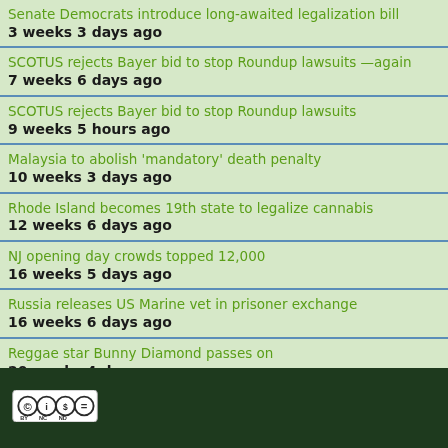Senate Democrats introduce long-awaited legalization bill
3 weeks 3 days ago
SCOTUS rejects Bayer bid to stop Roundup lawsuits —again
7 weeks 6 days ago
SCOTUS rejects Bayer bid to stop Roundup lawsuits
9 weeks 5 hours ago
Malaysia to abolish 'mandatory' death penalty
10 weeks 3 days ago
Rhode Island becomes 19th state to legalize cannabis
12 weeks 6 days ago
NJ opening day crowds topped 12,000
16 weeks 5 days ago
Russia releases US Marine vet in prisoner exchange
16 weeks 6 days ago
Reggae star Bunny Diamond passes on
20 weeks 4 days ago
CC BY NC ND